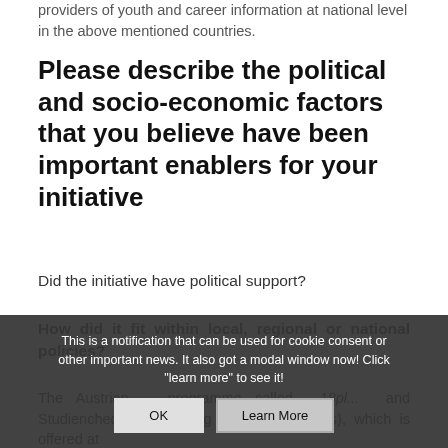providers of youth and career information at national level in the above mentioned countries.
Please describe the political and socio-economic factors that you believe have been important enablers for your initiative
Did the initiative have political support?
How did it fit within local, regional or national policies?
The Austrian... programme called 18pl... and Studienchecker (Checking Jobs and studies), which is offered at
This is a notification that can be used for cookie consent or other important news. It also got a modal window now! Click "learn more" to see it!